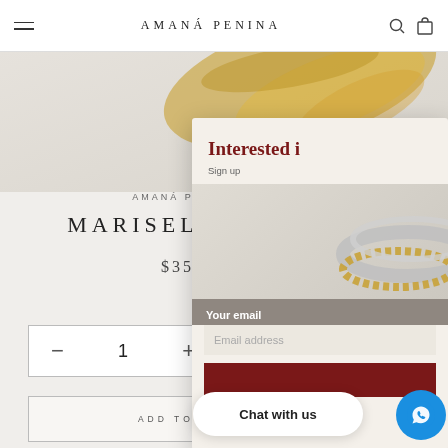AMANÁ PENINA
[Figure (photo): Gold jewelry item photographed on light background]
AMANÁ PENI
MARISELA NEC
$35
1
ADD TO CAR
[Figure (screenshot): Email signup popup overlay with heading 'Interested i', subtext 'Sign up', email field, and a button. Shows rings image on background.]
Chat with us